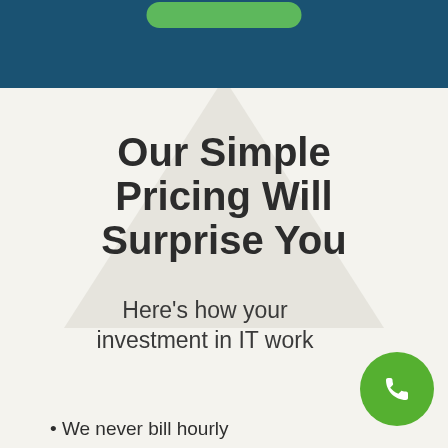[Figure (other): Dark teal/navy blue banner header at top of page with a green rounded button partially visible at top center]
Our Simple Pricing Will Surprise You
Here's how your investment in IT work
We never bill hourly